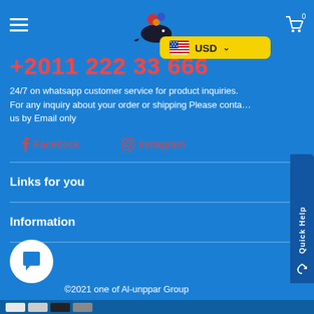Navigation header with hamburger menu, logo, USD currency selector, and cart icon
+2011 222 33 666
24/7 on whatsapp customer service for product inquiries. For any inquiry about your order or shipping Please contact us by Email only
f  Facebook
Instagram
Links for you
Information
©2021 one of Al-unppar Group